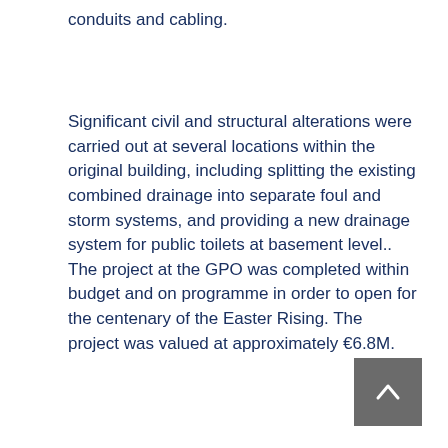conduits and cabling.
Significant civil and structural alterations were carried out at several locations within the original building, including splitting the existing combined drainage into separate foul and storm systems, and providing a new drainage system for public toilets at basement level.. The project at the GPO was completed within budget and on programme in order to open for the centenary of the Easter Rising. The project was valued at approximately €6.8M.